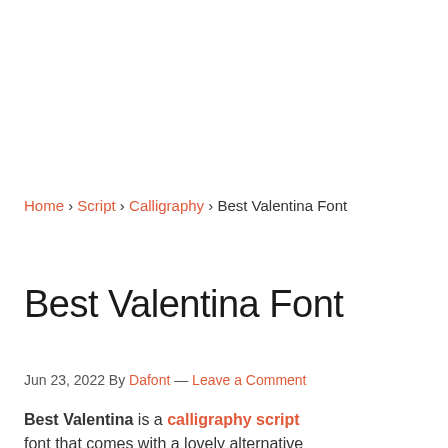Home › Script › Calligraphy › Best Valentina Font
Best Valentina Font
Jun 23, 2022 By Dafont — Leave a Comment
Best Valentina is a calligraphy script font that comes with a lovely alternative